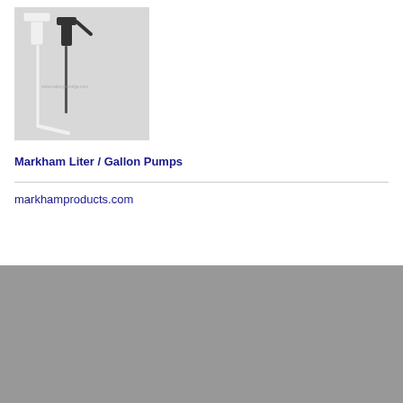[Figure (photo): Two dispensing pumps (one white, one black) with long tubes, photographed on a light grey background. Watermark text visible: www.salonprestige.com]
Markham Liter / Gallon Pumps
markhamproducts.com
CATEGORY
SALONTOOLS PRODUCTS
MARKHAM PRODUCTS
FEATURED PRODUCTS